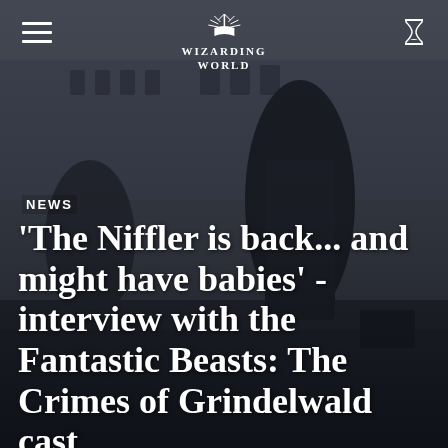[Figure (photo): Background movie still from Fantastic Beasts: The Crimes of Grindelwald showing actors in dark cinematic scene on a street with European architecture]
WIZARDING WORLD
NEWS
‘The Niffler is back... and might have babies’ - interview with the Fantastic Beasts: The Crimes of Grindelwald cast